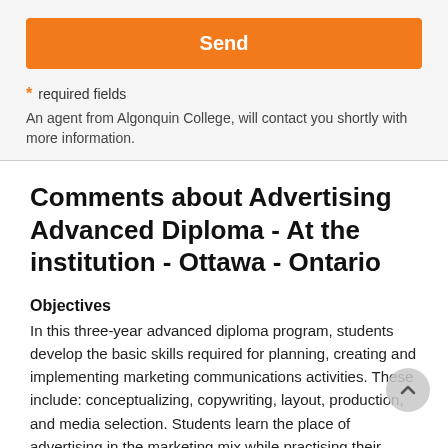Send
* required fields
An agent from Algonquin College, will contact you shortly with more information.
Comments about Advertising Advanced Diploma - At the institution - Ottawa - Ontario
Objectives
In this three-year advanced diploma program, students develop the basic skills required for planning, creating and implementing marketing communications activities. These include: conceptualizing, copywriting, layout, production, and media selection. Students learn the place of advertising in the marketing mix while practising their creative and client-service skills in workshops, with the student newspaper, and with the student agency. The program concludes with six